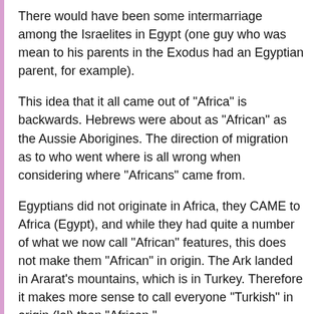There would have been some intermarriage among the Israelites in Egypt (one guy who was mean to his parents in the Exodus had an Egyptian parent, for example).
This idea that it all came out of "Africa" is backwards. Hebrews were about as "African" as the Aussie Aborigines. The direction of migration as to who went where is all wrong when considering where "Africans" came from.
Egyptians did not originate in Africa, they CAME to Africa (Egypt), and while they had quite a number of what we now call "African" features, this does not make them "African" in origin. The Ark landed in Ararat's mountains, which is in Turkey. Therefore it makes more sense to call everyone "Turkish" in origin (lol) than "African."